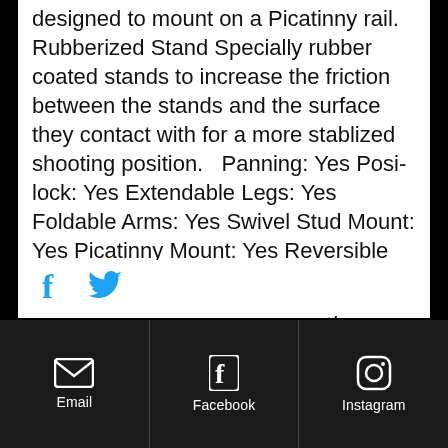designed to mount on a Picatinny rail. Rubberized Stand Specially rubber coated stands to increase the friction between the stands and the surface they contact with for a more stablized shooting position.   Panning: Yes Posi-lock: Yes Extendable Legs: Yes Foldable Arms: Yes Swivel Stud Mount: Yes Picatinny Mount: Yes Reversible Arms-Folding: Yes Stand: Rubberized Stand Material: Aluminum Weight: 15.3 oz A: N/A B: 8.12"-11.97" C: 8.15"-12.43" D: 2.36"
[Figure (other): Social sharing icons: Facebook (f) and Twitter (bird) icons in blue]
Email   Facebook   Instagram